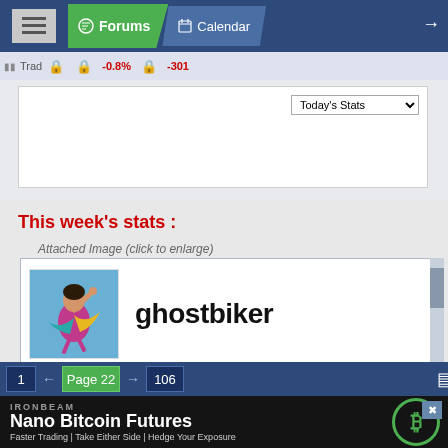Forums | Calendar
Trad | -0.8% | -301 | Today's Stats
This week's stats :
Attached Image (click to enlarge)
[Figure (screenshot): Profile card for user 'ghostbiker' showing avatar of person in colorful clothes flying/jumping against blue sky background. Status: Commercial Member, Online Now: Viewing Profile, Using Local Time: 9:12am, Joined Forex Factory: Jul 2015]
1 ← Page 22 → 106
IRONBEAM — Nano Bitcoin Futures — Faster Trading | Take Either Side | Hedge Your Exposure